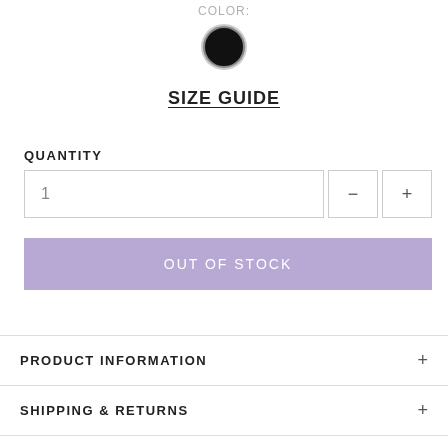COLOR:
[Figure (illustration): Black circular color swatch with grey border ring]
SIZE GUIDE
QUANTITY
1
OUT OF STOCK
PRODUCT INFORMATION +
SHIPPING & RETURNS +
PAYMENT +